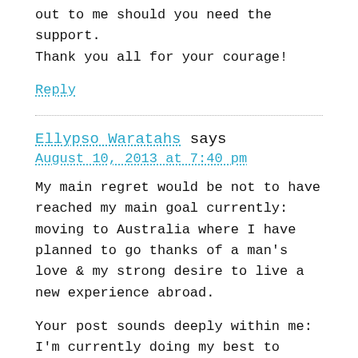out to me should you need the support. Thank you all for your courage!
Reply
Ellypso Waratahs says
August 10, 2013 at 7:40 pm
My main regret would be not to have reached my main goal currently: moving to Australia where I have planned to go thanks of a man's love & my strong desire to live a new experience abroad.
Your post sounds deeply within me: I'm currently doing my best to fulfil my